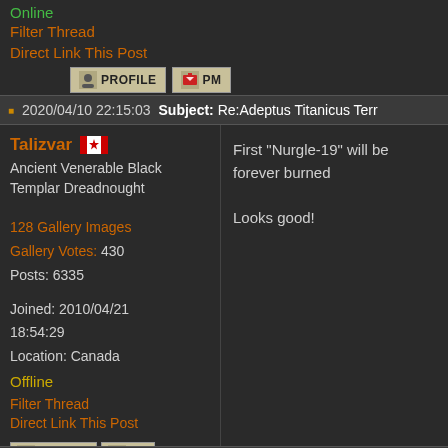Online
Filter Thread
Direct Link This Post
2020/04/10 22:15:03   Subject: Re:Adeptus Titanicus Terr...
Talizvar
Ancient Venerable Black Templar Dreadnought
First "Nurgle-19" will be forever burned
Looks good!
128 Gallery Images
Gallery Votes: 430
Posts: 6335
Joined: 2010/04/21 18:54:29
Location: Canada
Offline
Filter Thread
Direct Link This Post
2020/04/17 03:50:28   Subject: Re:Adeptus Titanicus Terr...